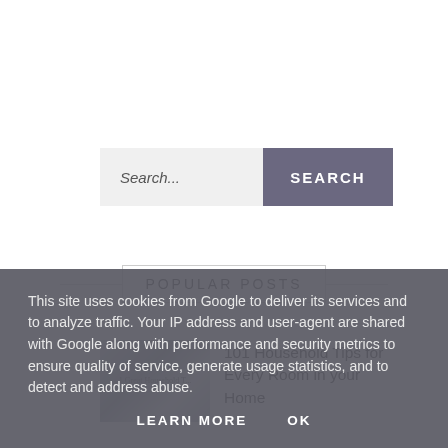Search...
SEARCH
POPULAR POSTS
[Figure (photo): Thumbnail image of a household tips book cover]
101 Household Tips for Every Room in your Home
This site uses cookies from Google to deliver its services and to analyze traffic. Your IP address and user-agent are shared with Google along with performance and security metrics to ensure quality of service, generate usage statistics, and to detect and address abuse.
LEARN MORE
OK